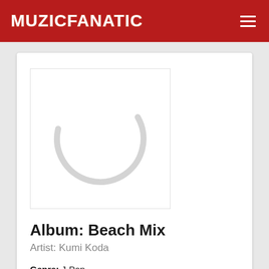MUZICFANATIC
[Figure (photo): Album art placeholder with a loading spinner circle on white background]
Album: Beach Mix
Artist: Kumi Koda
Genre: J-Pop
Release Date: 2012